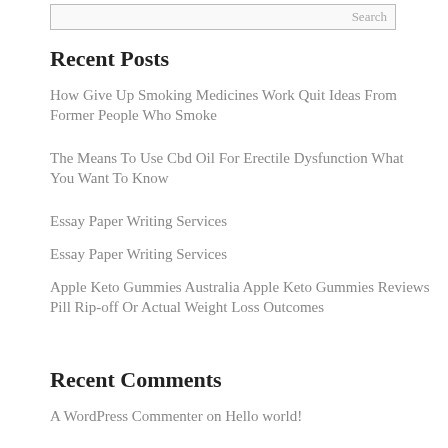Recent Posts
How Give Up Smoking Medicines Work Quit Ideas From Former People Who Smoke
The Means To Use Cbd Oil For Erectile Dysfunction What You Want To Know
Essay Paper Writing Services
Essay Paper Writing Services
Apple Keto Gummies Australia Apple Keto Gummies Reviews Pill Rip-off Or Actual Weight Loss Outcomes
Recent Comments
A WordPress Commenter on Hello world!